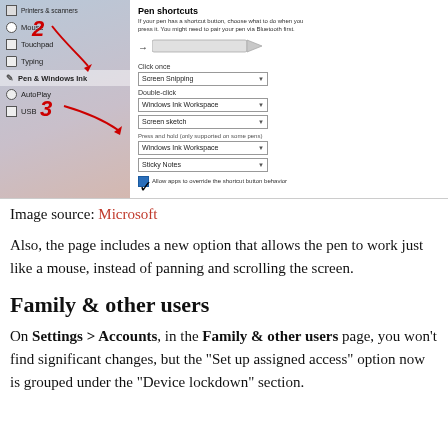[Figure (screenshot): Windows 10 Settings screenshot showing Pen & Windows Ink settings panel with pen shortcuts options, dropdowns for Click once (Screen Snapping), Double-click (Windows Ink Workspace, Screen sketch), Press and hold (Windows Ink Workspace, Sticky Notes), and a checkbox. Red arrows annotated with numbers 2 and 3 point to Pen & Windows Ink menu item and the Click once dropdown respectively.]
Image source: Microsoft
Also, the page includes a new option that allows the pen to work just like a mouse, instead of panning and scrolling the screen.
Family & other users
On Settings > Accounts, in the Family & other users page, you won’t find significant changes, but the “Set up assigned access” option now is grouped under the “Device lockdown” section.